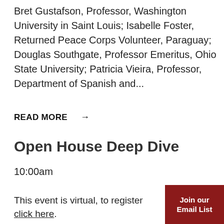Bret Gustafson, Professor, Washington University in Saint Louis; Isabelle Foster, Returned Peace Corps Volunteer, Paraguay; Douglas Southgate, Professor Emeritus, Ohio State University; Patricia Vieira, Professor, Department of Spanish and...
READ MORE →
Open House Deep Dive
10:00am
This event is virtual, to register click here.
Join our Email List
We would love to hear from you at...